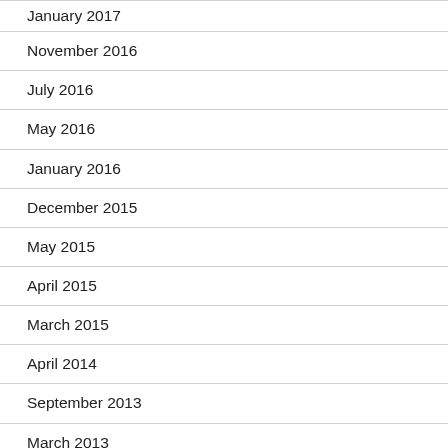January 2017
November 2016
July 2016
May 2016
January 2016
December 2015
May 2015
April 2015
March 2015
April 2014
September 2013
March 2013
February 2013
September 2012